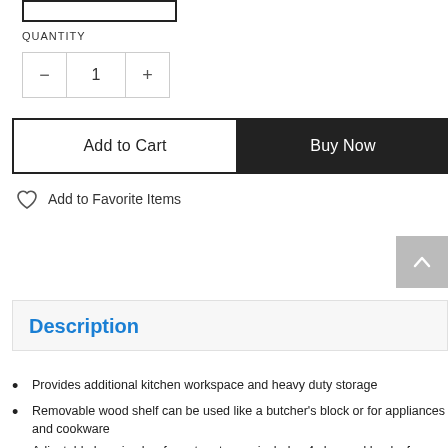[Figure (other): Product image placeholder box]
QUANTITY
[Figure (other): Quantity stepper control with minus, 1, plus buttons]
Add to Cart
Buy Now
Add to Favorite Items
[Figure (other): Scroll to top arrow button]
Description
Provides additional kitchen workspace and heavy duty storage
Removable wood shelf can be used like a butcher's block or for appliances and cookware
Adjustable hanging bar for extra storage includes 4 chromed hooks for